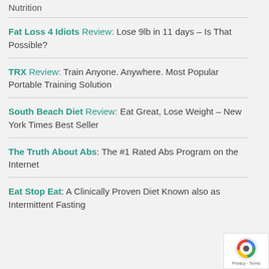Nutrition
Fat Loss 4 Idiots Review: Lose 9lb in 11 days – Is That Possible?
TRX Review: Train Anyone. Anywhere. Most Popular Portable Training Solution
South Beach Diet Review: Eat Great, Lose Weight – New York Times Best Seller
The Truth About Abs: The #1 Rated Abs Program on the Internet
Eat Stop Eat: A Clinically Proven Diet Known also as Intermittent Fasting